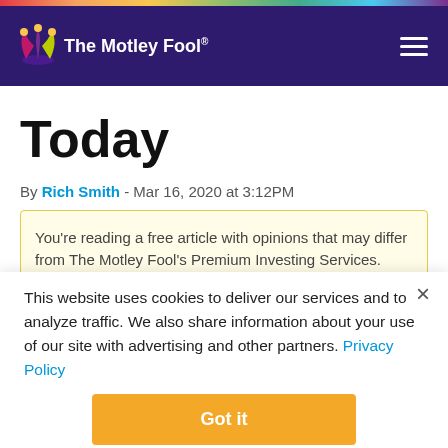The Motley Fool
Today
By Rich Smith - Mar 16, 2020 at 3:12PM
You're reading a free article with opinions that may differ from The Motley Fool's Premium Investing Services.
This website uses cookies to deliver our services and to analyze traffic. We also share information about your use of our site with advertising and other partners. Privacy Policy
Got it
Cookie Settings